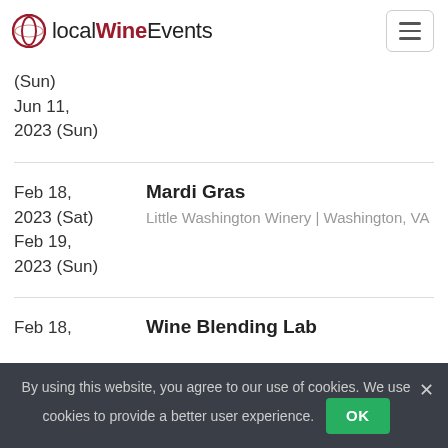localWineEvents
(Sun)
Jun 11, 2023 (Sun)
Feb 18, 2023 (Sat)
Feb 19, 2023 (Sun)
Mardi Gras
Little Washington Winery | Washington, VA
Feb 18,
Wine Blending Lab
By using this website, you agree to our use of cookies. We use cookies to provide a better user experience.